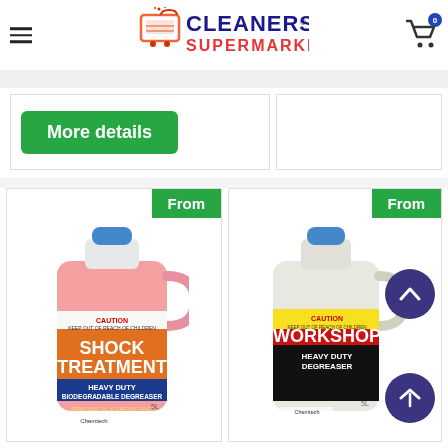[Figure (logo): Cleaners Supermarket logo with shopping cart icon]
More details
[Figure (photo): Shock Treatment Heavy Duty Biodegradable Degreaser 5L pink bottle with From badge]
[Figure (photo): Workshop Heavy Duty Degreaser 5L white bottle with From badge]